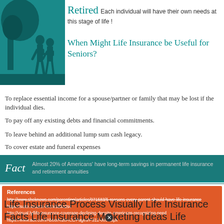[Figure (illustration): Silhouette of two elderly people (couple) standing under a tree against a teal/green background]
Retired Each individual will have their own needs at this stage of life !
When Might Life Insurance be Useful for Seniors?
To replace essential income for a spouse/partner or family that may be lost if the individual dies.
To pay off any existing debts and financial commitments.
To leave behind an additional lump sum cash legacy.
To cover estate and funeral expenses
Fact  Almost 20% of Americans' have long-term savings in permanent life insurance and retirement annuities
References
http://www.sheknows.com/parenting/articles/971583/5-reasons-every-parent-should-have-life-insurance
https://suite.io/carol-finch/3d3n2s4
http://visual.ly/life-insurance-coverage-declining-despite-americans-recognizing-need
https://www.acli.com/About%20ACLI/Pages/FS12-005.aspx
Life Insurance Process Visually Life Insurance Facts Life Insurance Marketing Ideas Life